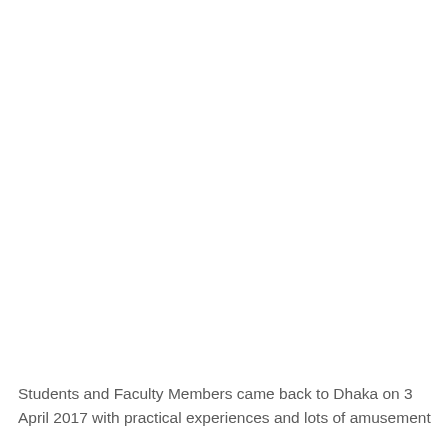Students and Faculty Members came back to Dhaka on 3 April 2017 with practical experiences and lots of amusement